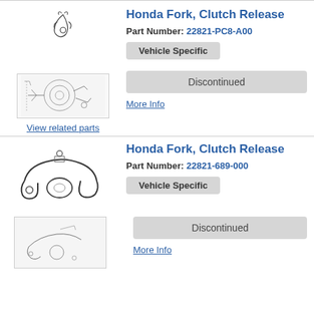Honda Fork, Clutch Release
Part Number: 22821-PC8-A00
Vehicle Specific
[Figure (illustration): Small illustration of a clutch release fork part]
Discontinued
More Info
[Figure (illustration): Diagram showing clutch release fork in assembly context]
View related parts
Honda Fork, Clutch Release
Part Number: 22821-689-000
Vehicle Specific
[Figure (illustration): Large illustration of a clutch release fork part]
Discontinued
More Info
[Figure (illustration): Small diagram showing fork in assembly context]